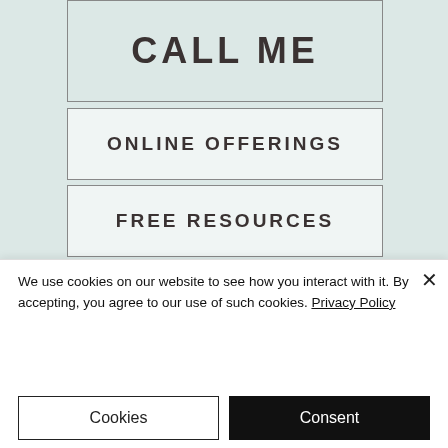[Figure (screenshot): Website navigation menu screenshot showing buttons: CALL ME, ONLINE OFFERINGS, FREE RESOURCES, SHOP, and Events & Courses on a light teal/mint background]
We use cookies on our website to see how you interact with it. By accepting, you agree to our use of such cookies. Privacy Policy
Cookies
Consent